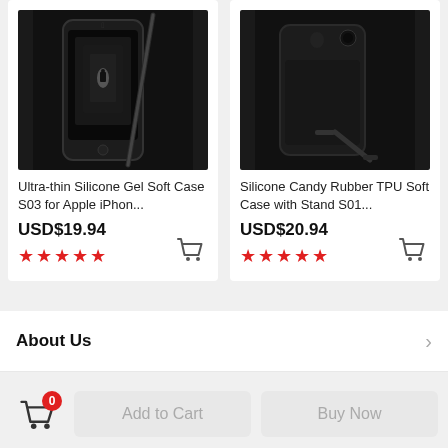[Figure (photo): Ultra-thin silicone gel soft case S03 for Apple iPhone, shown in black with a stylus beside it]
Ultra-thin Silicone Gel Soft Case S03 for Apple iPhon...
USD$19.94
[Figure (photo): Silicone Candy Rubber TPU Soft Case with Stand S01, shown in black with kickstand deployed]
Silicone Candy Rubber TPU Soft Case with Stand S01...
USD$20.94
About Us
Add to Cart
Buy Now